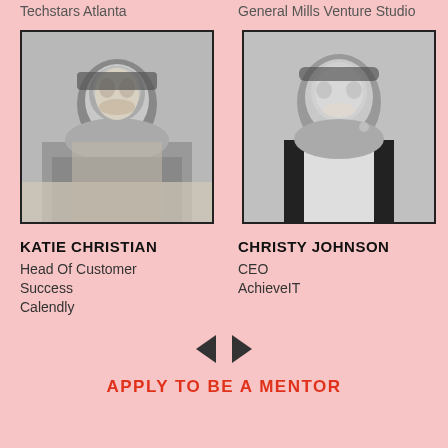Techstars Atlanta
General Mills Venture Studio
[Figure (photo): Black and white headshot of Katie Christian, a young woman with long dark hair, smiling]
[Figure (photo): Black and white headshot of Christy Johnson, a woman with short dark hair, smiling, wearing a white collared shirt]
KATIE CHRISTIAN
Head Of Customer Success
Calendly
CHRISTY JOHNSON
CEO
AchieveIT
APPLY TO BE A MENTOR